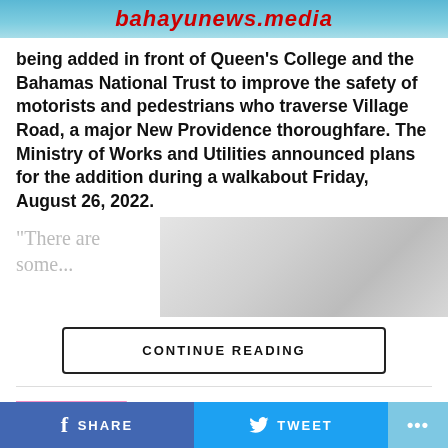bahayunews.media
being added in front of Queen's College and the Bahamas National Trust to improve the safety of motorists and pedestrians who traverse Village Road, a major New Providence thoroughfare. The Ministry of Works and Utilities announced plans for the addition during a walkabout Friday, August 26, 2022.
“There are some...
CONTINUE READING
EDUCATION
“Philippines finally return to school only to leave”
f SHARE    TWEET   ...